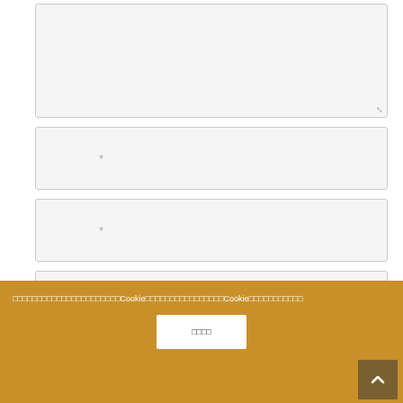[Figure (screenshot): Large textarea input field with resize handle at bottom right, light gray background]
[Figure (screenshot): Text input field with asterisk placeholder, light gray background]
[Figure (screenshot): Text input field with asterisk placeholder, light gray background]
[Figure (screenshot): Website URL input field with placeholder text in Thai/box characters]
□ [Thai/box characters checkbox label text]
[Figure (screenshot): CAPTCHA image showing letters E T Q S in mixed fonts]
[Thai/box characters captcha instruction label]
[Figure (screenshot): CAPTCHA text input field, light gray]
[Figure (screenshot): Pink/magenta submit button, partially visible]
[Thai/box characters] Cookie [Thai/box characters] Cookie [Thai/box characters]
[Thai/box characters accept button]